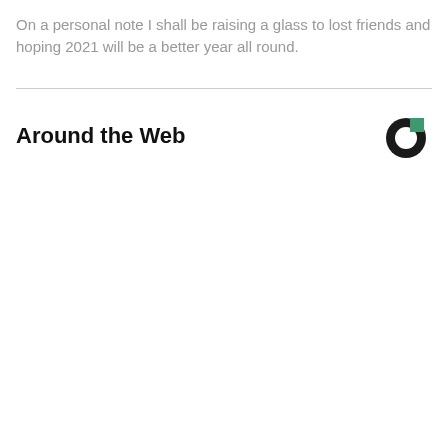On a personal note I shall be raising a glass to lost friends and hoping 2021 will be a better year all round.
Around the Web
[Figure (logo): Circular logo with a thick black C-shaped ring and a green square in the upper right quadrant]